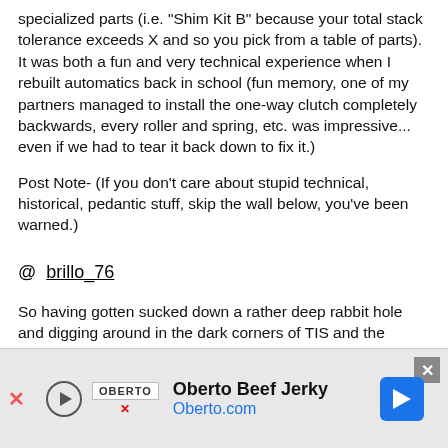specialized parts (i.e. "Shim Kit B" because your total stack tolerance exceeds X and so you pick from a table of parts). It was both a fun and very technical experience when I rebuilt automatics back in school (fun memory, one of my partners managed to install the one-way clutch completely backwards, every roller and spring, etc. was impressive... even if we had to tear it back down to fix it.)
Post Note- (If you don't care about stupid technical, historical, pedantic stuff, skip the wall below, you've been warned.)
@ brillo_76
So having gotten sucked down a rather deep rabbit hole and digging around in the dark corners of TIS and the history of ATFs... I am going to say that the most "official" document in regards to [ADVERTISEMENT] compatibility with
[Figure (other): Oberto Beef Jerky advertisement banner with logo, play button, brand name, URL Oberto.com, and blue arrow navigation button]